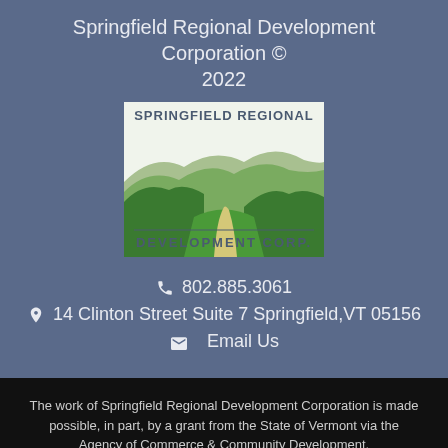Springfield Regional Development Corporation © 2022
[Figure (logo): Springfield Regional Development Corp. logo with green hills, valley, and winding river/road. Text reads SPRINGFIELD REGIONAL at top and DEVELOPMENT CORP. at bottom.]
802.885.3061
14 Clinton Street Suite 7 Springfield, VT 05156
Email Us
The work of Springfield Regional Development Corporation is made possible, in part, by a grant from the State of Vermont via the Agency of Commerce & Community Development.
0 SHARES